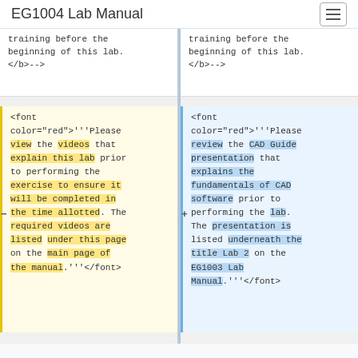EG1004 Lab Manual
training before the beginning of this lab. </b>-->
training before the beginning of this lab. </b>-->
<font color="red">'''Please view the videos that explain this lab prior to performing the exercise to ensure it will be completed in the time allotted. The required videos are listed under this page on the main page of the manual.'''</font>
<font color="red">'''Please review the CAD Guide presentation that explains the fundamentals of CAD software prior to performing the lab. The presentation is listed underneath the title Lab 2 on the EG1003 Lab Manual.'''</font>